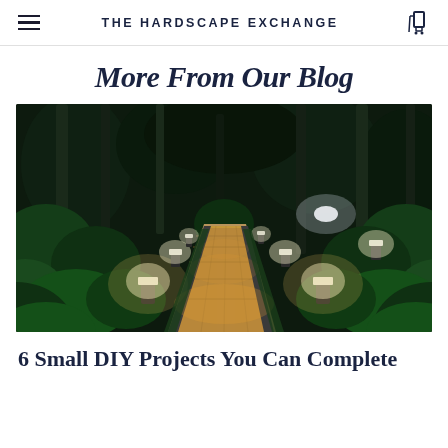THE HARDSCAPE EXCHANGE
More From Our Blog
[Figure (photo): Nighttime garden pathway lined with low bollard lights glowing amber, surrounded by lush green shrubs and trees, stone flagstone walkway receding into the distance]
6 Small DIY Projects You Can Complete